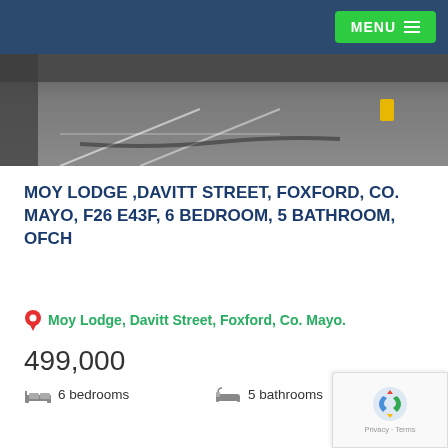MENU
[Figure (photo): Photograph of a parking lot or garage interior with white painted lines on the floor and a yellow object in the background]
MOY LODGE ,DAVITT STREET, FOXFORD, CO. MAYO, F26 E43F, 6 BEDROOM, 5 BATHROOM, OFCH
Moy Lodge, Davitt Street, Foxford, Co. Mayo.
499,000
6 bedrooms   5 bathrooms